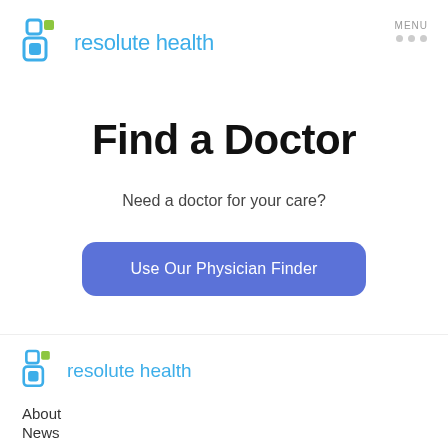[Figure (logo): Resolute Health logo with teal and green icon and teal text]
MENU
Find a Doctor
Need a doctor for your care?
Use Our Physician Finder
[Figure (logo): Resolute Health footer logo with teal and green icon and teal text]
About
News